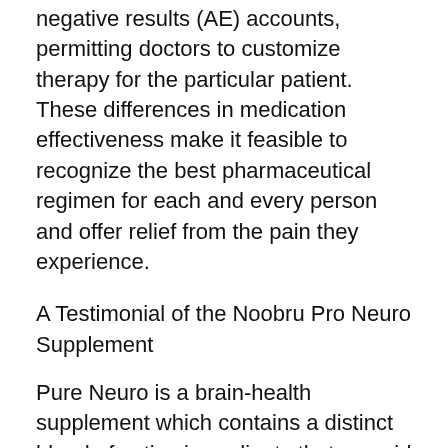negative results (AE) accounts, permitting doctors to customize therapy for the particular patient. These differences in medication effectiveness make it feasible to recognize the best pharmaceutical regimen for each and every person and offer relief from the pain they experience.
A Testimonial of the Noobru Pro Neuro Supplement
Pure Neuro is a brain-health supplement which contains a distinct blend of active ingredients that can aid improve mind feature. The mix consists of Ginseng, a natural anti-aging herb, and other herbs understood to advertise health. Ginseng is a